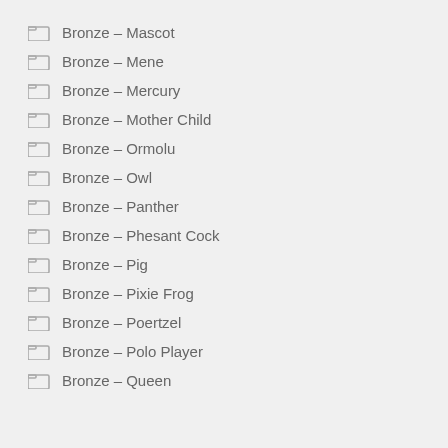Bronze – Mascot
Bronze – Mene
Bronze – Mercury
Bronze – Mother Child
Bronze – Ormolu
Bronze – Owl
Bronze – Panther
Bronze – Phesant Cock
Bronze – Pig
Bronze – Pixie Frog
Bronze – Poertzel
Bronze – Polo Player
Bronze – Queen